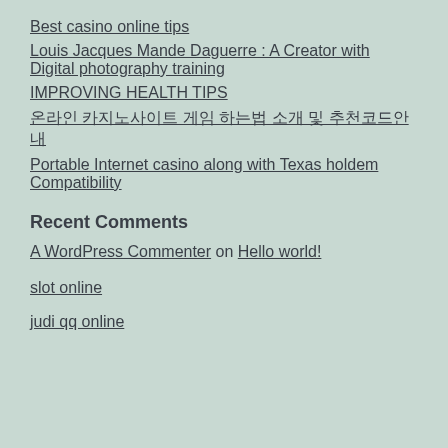Best casino online tips
Louis Jacques Mande Daguerre : A Creator with Digital photography training
IMPROVING HEALTH TIPS
온라인 카지노사이트 게임 하는법 소개 및 추천코드안내
Portable Internet casino along with Texas holdem Compatibility
Recent Comments
A WordPress Commenter on Hello world!
slot online
judi qq online